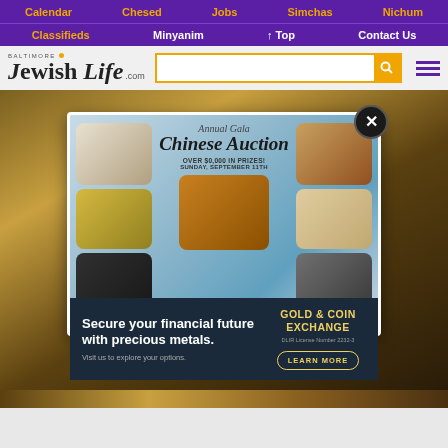Calendar  Chesed  Jobs  Simchas  Nichum
Classifieds  Minyanim  ↑ Top  Contact Us
[Figure (logo): Baltimore Jewish Life .com logo with search bar and hamburger menu]
[Figure (infographic): Annual Gala Chinese Auction popup ad with grid of prize images (room, food, lamp, kids, car, man, plane). Text: 'Annual Gala Chinese Auction OVER $0,000 IN PRIZES! SUNDAY SEPTEMBER 11TH NSHELAUCTION.COM'. Close button in top right.]
[Figure (infographic): Gold & Coin Exchange advertisement. Text: 'Secure your financial future with precious metals. Visit us to explore your options. GOLD & COIN EXCHANGE DLIR License Number 2232-3 LEARN MORE']
[Figure (photo): Bottom strip showing a golden/earthy toned landscape or cityscape photo]